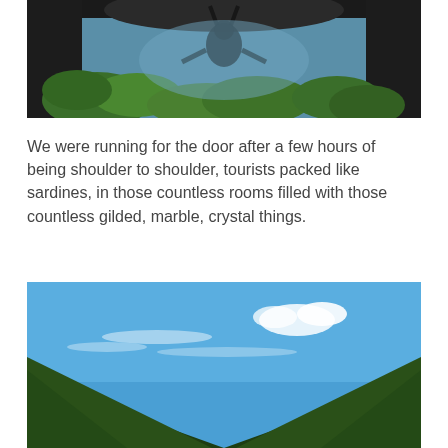[Figure (photo): Outdoor garden/foliage scene viewed through a dark arch or structure, with lush green plants below and a figure reflected upside down in water or a reflective surface at the top, blue sky visible]
We were running for the door after a few hours of being shoulder to shoulder, tourists packed like sardines, in those countless rooms filled with those countless gilded, marble, crystal things.
[Figure (photo): Landscape photo with a bright blue sky and wispy white clouds, dark green hedges or tree-lined slopes converging toward the center bottom of the image in a V-shape]